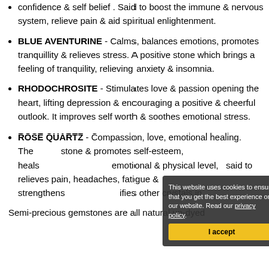confidence & self belief . Said to boost the immune & nervous system, relieve pain & aid spiritual enlightenment.
BLUE AVENTURINE - Calms, balances emotions, promotes tranquillity & relieves stress. A positive stone which brings a feeling of tranquility, relieving anxiety & insomnia.
RHODOCHROSITE - Stimulates love & passion opening the heart, lifting depression & encouraging a positive & cheerful outlook. It improves self worth & soothes emotional stress.
ROSE QUARTZ - Compassion, love, emotional healing. Theiest stone & promotes self-esteem, heals on emotional & physical level, said to relieves pain, headaches, fatigue & strengthens other crystals in
Semi-precious gemstones are all natural un-dyed